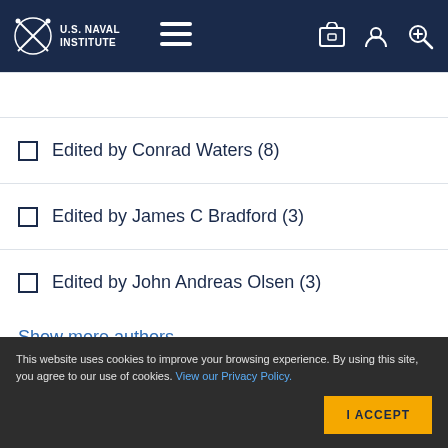U.S. Naval Institute
Edited by Conrad Waters (8)
Edited by James C Bradford (3)
Edited by John Andreas Olsen (3)
Show more authors
Displaying 1 - 5 of 5
This website uses cookies to improve your browsing experience. By using this site, you agree to our use of cookies. View our Privacy Policy.